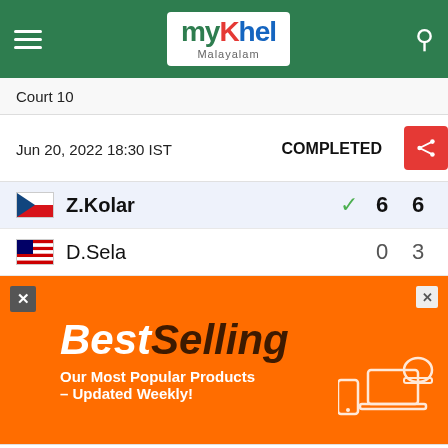myKhel Malayalam
Court 10
Jun 20, 2022 18:30 IST    COMPLETED
| Player | Set 1 | Set 2 |
| --- | --- | --- |
| Z.Kolar (winner) | 6 | 6 |
| D.Sela | 0 | 3 |
[Figure (advertisement): BestSelling – Our Most Popular Products – Updated Weekly! (orange ad banner)]
[Figure (advertisement): Dickies® | Official Site | Workwear & Apparel – for work pants, work shirts, overalls, and coveralls. www.dickies.com]